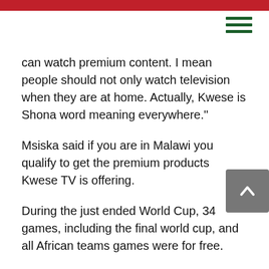can watch premium content. I mean people should not only watch television when they are at home. Actually, Kwese is Shona word meaning everywhere."
Msiska said if you are in Malawi you qualify to get the premium products Kwese TV is offering.
During the just ended World Cup, 34 games, including the final world cup, and all African teams games were for free.
He said as pan African TV, their role and responsibility is to showcase our achievements as Africans, and at a very affordable cost.
Kwese is the first to offer pay per view subscription option to TV lovers.